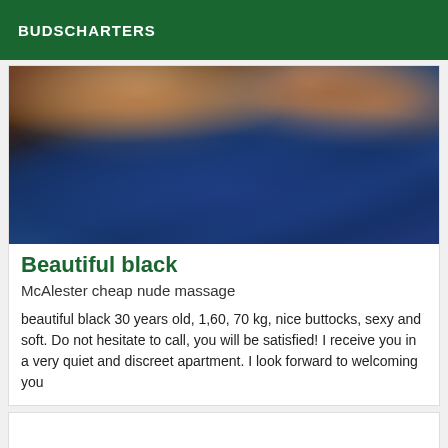BUDSCHARTERS
[Figure (photo): Photo of a person lying on a blue patterned blanket/bedding, skin visible from behind]
Beautiful black
McAlester cheap nude massage
beautiful black 30 years old, 1,60, 70 kg, nice buttocks, sexy and soft. Do not hesitate to call, you will be satisfied! I receive you in a very quiet and discreet apartment. I look forward to welcoming you